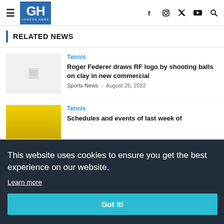GH LONDON NEWS
RELATED NEWS
Tennis
Roger Federer draws RF logo by shooting balls on clay in new commercial
Sports News - August 26, 2022
Tennis
Schedules and events of last week of
This website uses cookies to ensure you get the best experience on our website.
Learn more
Got it!
'Practising with different kinds of